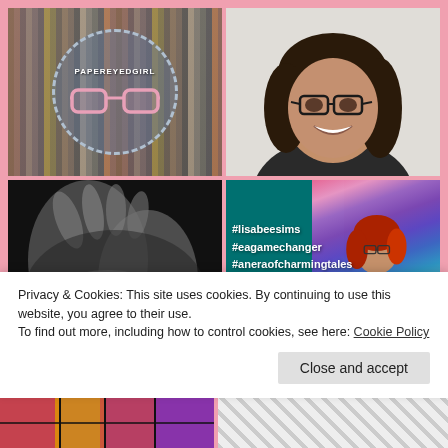[Figure (photo): Top-left: circular logo on bookshelf background with text PAPEREYEDGIRL and pink glasses icon]
[Figure (photo): Top-right: photo of a young woman with dark hair and glasses, smiling]
[Figure (photo): Bottom-left: black and white close-up photo of hands]
[Figure (screenshot): Bottom-right: Sims game screenshot with teal background and colorful streaks, animated red-haired character holding a book, hashtags #lisabeesims #eagamechanger #aneraofcharmingtales]
Privacy & Cookies: This site uses cookies. By continuing to use this website, you agree to their use.
To find out more, including how to control cookies, see here: Cookie Policy
Close and accept
[Figure (photo): Bottom strip left: partial colorful stained-glass or comic-style image]
[Figure (photo): Bottom strip right: partial image with diagonal lines suggesting architecture]